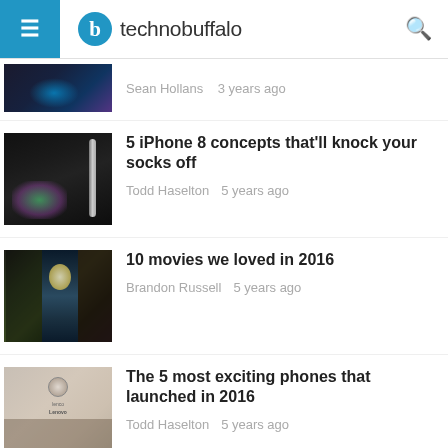technobuffalo
Sean Hollans · 3 years ago
5 iPhone 8 concepts that'll knock your socks off
Todd Haselton · 5 years ago
10 movies we loved in 2016
Brandon Russell · 5 years ago
The 5 most exciting phones that launched in 2016
Todd Haselton · 5 years ago